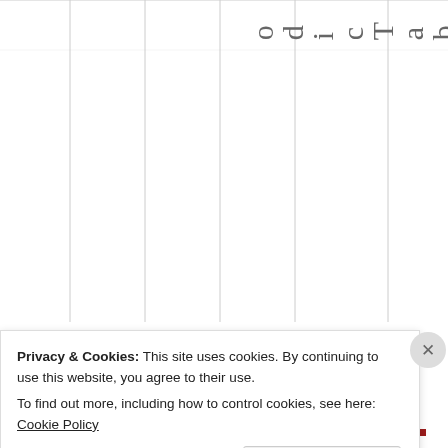[Figure (table-as-image): Partial table with vertical column lines visible, with rotated text reading 'odicTablec' vertically on the right side — appears to be part of a 'Periodic Table' label]
Privacy & Cookies: This site uses cookies. By continuing to use this website, you agree to their use.
To find out more, including how to control cookies, see here: Cookie Policy
Close and accept